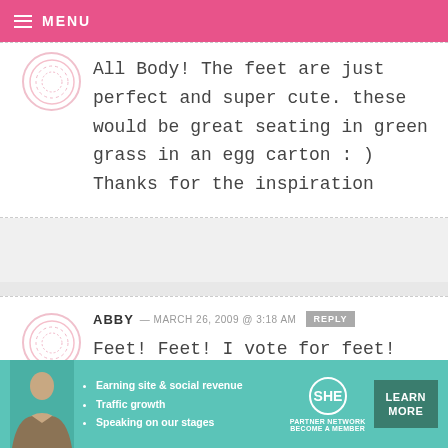MENU
All Body! The feet are just perfect and super cute. these would be great seating in green grass in an egg carton : ) Thanks for the inspiration
ABBY — MARCH 26, 2009 @ 3:18 AM REPLY
Feet! Feet! I vote for feet!
[Figure (screenshot): SHE Partner Network advertisement banner with photo of woman, bullet points: Earning site & social revenue, Traffic growth, Speaking on our stages, and Learn More button]